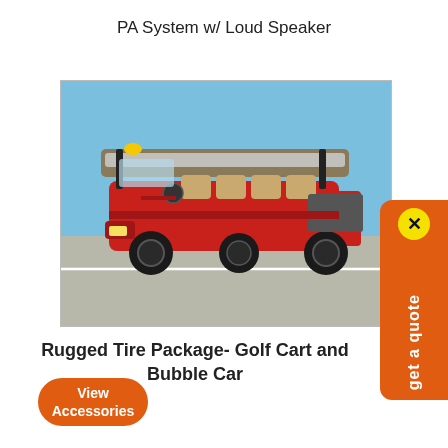PA System w/ Loud Speaker
[Figure (photo): Red multi-passenger golf cart / bubble car with rugged off-road tires, tan seats, large canopy roof, and a yellow beacon light on top, parked on a paved surface under a blue sky.]
Rugged Tire Package- Golf Cart and Bubble Car
View Accessories